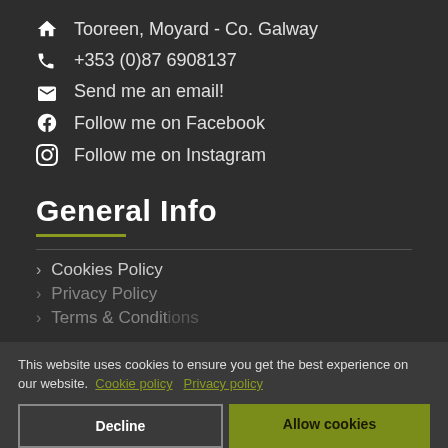Tooreen, Moyard - Co. Galway
+353 (0)87 6908137
Send me an email!
Follow me on Facebook
Follow me on Instagram
General Info
Cookies Policy
Privacy Policy
Terms & Conditions
This website uses cookies to ensure you get the best experience on our website. Cookie policy Privacy policy
Decline
Allow cookies